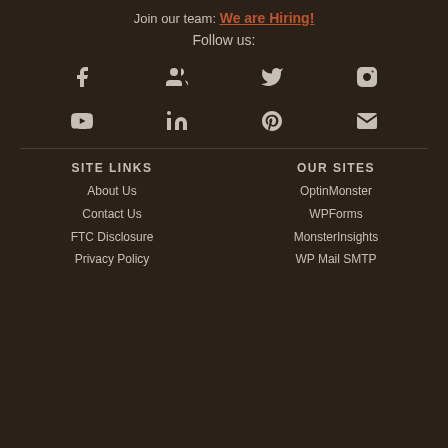Join our team: We are Hiring!
Follow us:
[Figure (infographic): Social media icons grid: Facebook, Groups, Twitter, Instagram, YouTube, LinkedIn, Pinterest, Email]
SITE LINKS
OUR SITES
About Us
OptinMonster
Contact Us
WPForms
FTC Disclosure
MonsterInsights
Privacy Policy
WP Mail SMTP